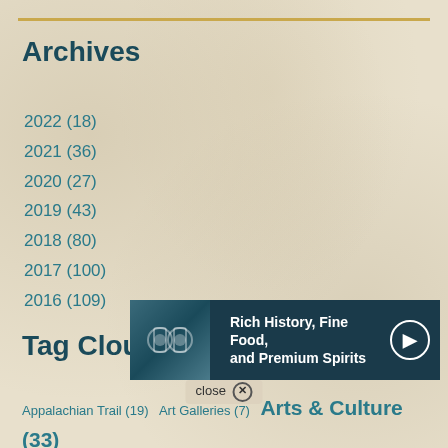Archives
2022 (18)
2021 (36)
2020 (27)
2019 (43)
2018 (80)
2017 (100)
2016 (109)
Tag Cloud
Appalachian Trail (19)  Art Galleries (7)  Arts & Culture (33)  Attractions (27)  Biking (28)  Blue Ridge  Camping  Breweries (26)  Camping (6)  Downtown Roanoke (33)  Events (55)
[Figure (screenshot): Advertisement overlay showing 'Rich History, Fine Food, and Premium Spirits' with play button and close button]